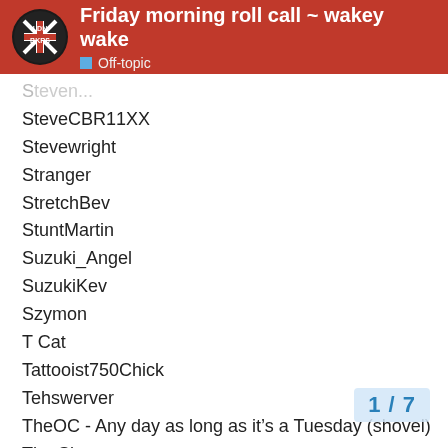Friday morning roll call ~ wakey wake | Off-topic
(cut off username)
SteveCBR11XX
Stevewright
Stranger
StretchBev
StuntMartin
Suzuki_Angel
SuzukiKev
Szymon
T Cat
Tattooist750Chick
Tehswerver
TheOC - Any day as long as it’s a Tuesday (shovel)
The Sleeper
TheUnforgiven
Thamer (Dave)
Tiggi
TimmyFox - Timmy and the Lords of the U... (cut off)
TimR
Tom_Matthews99 (cut off)
1 / 7